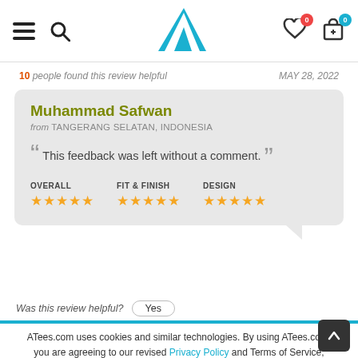ATees.com navigation bar with hamburger menu, search, logo, wishlist (0), cart (0)
10 people found this review helpful   MAY 28, 2022
Muhammad Safwan
from TANGERANG SELATAN, INDONESIA

“ This feedback was left without a comment. ”

OVERALL ★★★★★   FIT & FINISH ★★★★★   DESIGN ★★★★★
Was this review helpful?  Yes
ATees.com uses cookies and similar technologies. By using ATees.com, you are agreeing to our revised Privacy Policy and Terms of Service, including our Cookie Policy.
I AGREE